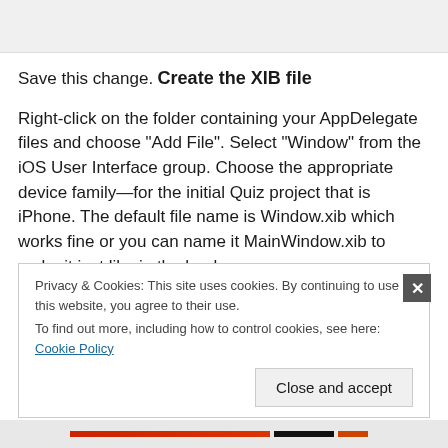[Figure (screenshot): Gray top bar area from a webpage screenshot]
Save this change.
Create the XIB file
Right-click on the folder containing your AppDelegate files and choose “Add File”. Select “Window” from the iOS User Interface group. Choose the appropriate device family—for the initial Quiz project that is iPhone. The default file name is Window.xib which works fine or you can name it MainWindow.xib to make it just like in the book.
Privacy & Cookies: This site uses cookies. By continuing to use this website, you agree to their use.
To find out more, including how to control cookies, see here: Cookie Policy